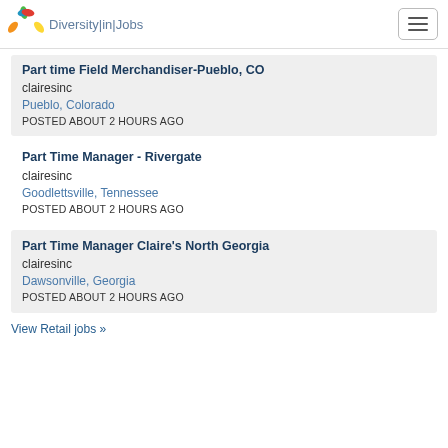Diversity|in|Jobs
Part time Field Merchandiser-Pueblo, CO — clairesinc — Pueblo, Colorado — POSTED ABOUT 2 HOURS AGO
Part Time Manager - Rivergate — clairesinc — Goodlettsville, Tennessee — POSTED ABOUT 2 HOURS AGO
Part Time Manager Claire's North Georgia — clairesinc — Dawsonville, Georgia — POSTED ABOUT 2 HOURS AGO
View Retail jobs »